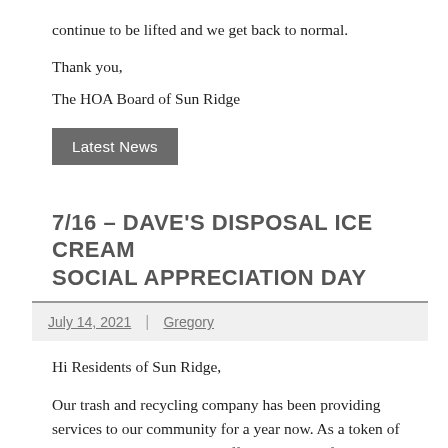continue to be lifted and we get back to normal.
Thank you,
The HOA Board of Sun Ridge
Latest News
7/16 – DAVE'S DISPOSAL ICE CREAM SOCIAL APPRECIATION DAY
July 14, 2021 | Gregory
Hi Residents of Sun Ridge,
Our trash and recycling company has been providing services to our community for a year now. As a token of their appreciation, they are offering a Mr. Softie ice cream truck by the community